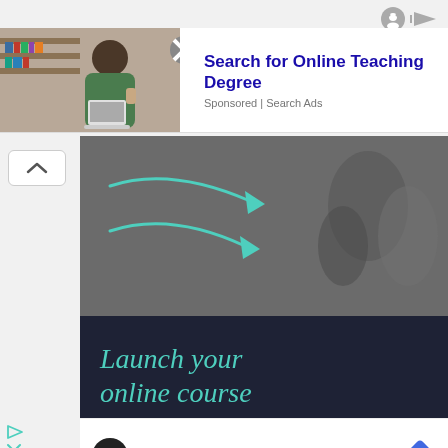[Figure (screenshot): Two small UI icons: a smiley/incognito icon and a play/forward icon in the top right corner]
[Figure (screenshot): Advertisement banner: photo of a woman at a laptop in a library, close button (X), headline 'Search for Online Teaching Degree', subtext 'Sponsored | Search Ads']
Search for Online Teaching Degree
Sponsored | Search Ads
[Figure (screenshot): Scroll-up chevron button on the left side]
[Figure (illustration): Upper portion of main ad: dark gray background with teal/turquoise arrow graphics pointing right, and blurred 3D sculptural objects on the right side]
[Figure (screenshot): Lower portion of main ad: dark navy background with italic teal text reading 'Launch your online course']
Launch your online course
[Figure (screenshot): Bottom card section with a circular logo with infinity-like symbol, checkmark and 'In-store shopping' text, and blue navigation diamond arrow icon]
In-store shopping
[Figure (screenshot): Small bottom-left icons: a play triangle and an X close icon]